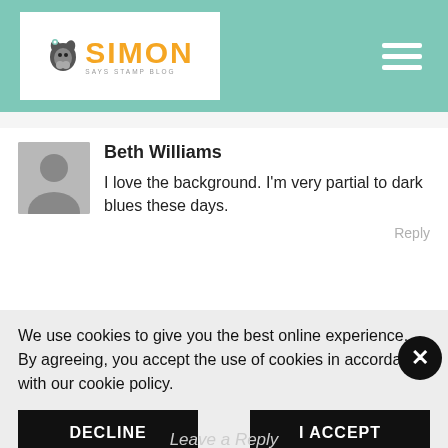Simon Says Stamp Blog
Beth Williams
I love the background. I'm very partial to dark blues these days.
Reply
We use cookies to give you the best online experience. By agreeing, you accept the use of cookies in accordance with our cookie policy.
DECLINE
I ACCEPT
Privacy Policy  Cookie Policy